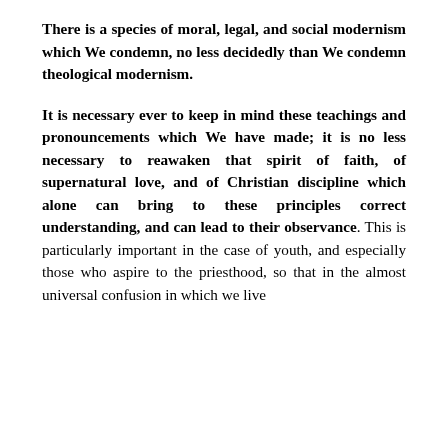There is a species of moral, legal, and social modernism which We condemn, no less decidedly than We condemn theological modernism.
It is necessary ever to keep in mind these teachings and pronouncements which We have made; it is no less necessary to reawaken that spirit of faith, of supernatural love, and of Christian discipline which alone can bring to these principles correct understanding, and can lead to their observance. This is particularly important in the case of youth, and especially those who aspire to the priesthood, so that in the almost universal confusion in which we live